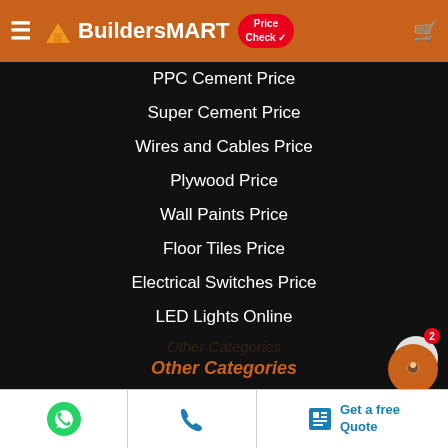BuildersMART Price Check
PPC Cement Price
Super Cement Price
Wires and Cables Price
Plywood Price
Wall Paints Price
Floor Tiles Price
Electrical Switches Price
LED Lights Online
Other Categories
Plumbing Materials Online
Electrical Materials Online
Bricks & Blocks Online
WhatsApp | Call | Get a free Quote